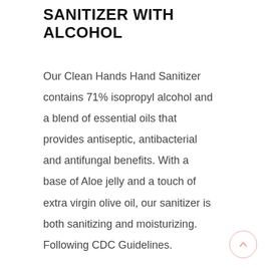SANITIZER WITH ALCOHOL
Our Clean Hands Hand Sanitizer contains 71% isopropyl alcohol and a blend of essential oils that provides antiseptic, antibacterial and antifungal benefits. With a base of Aloe jelly and a touch of extra virgin olive oil, our sanitizer is both sanitizing and moisturizing. Following CDC Guidelines.